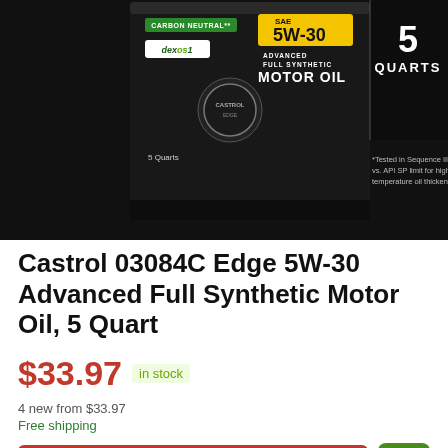[Figure (photo): Product image of Castrol 03084C Edge 5W-30 Advanced Full Synthetic Motor Oil 5 Quart container. Black bottle with yellow SAE 5W-30 label, Carbon Neutral badge, dexos1 logo, and 5 Quarts text. Footnote: *Tested in Sequence III H vs. API SP limit for high temperature oil thickening]
Castrol 03084C Edge 5W-30 Advanced Full Synthetic Motor Oil, 5 Quart
$33.97 in stock
4 new from $33.97
Free shipping
BUY NOW
Amazon.com